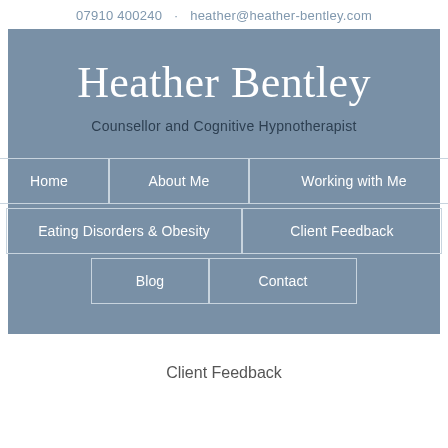07910 400240 · heather@heather-bentley.com
Heather Bentley
Counsellor and Cognitive Hypnotherapist
Home
About Me
Working with Me
Eating Disorders & Obesity
Client Feedback
Blog
Contact
Client Feedback